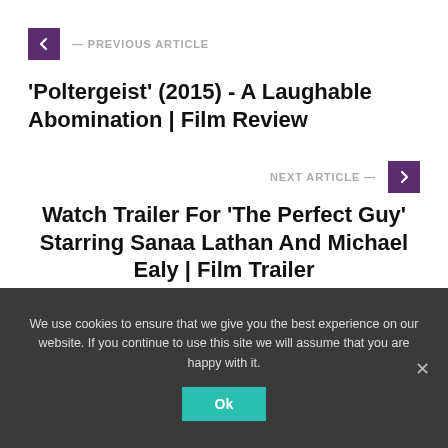← PREVIOUS ARTICLE
'Poltergeist' (2015) - A Laughable Abomination | Film Review
NEXT ARTICLE →
Watch Trailer For 'The Perfect Guy' Starring Sanaa Lathan And Michael Ealy | Film Trailer
We use cookies to ensure that we give you the best experience on our website. If you continue to use this site we will assume that you are happy with it.